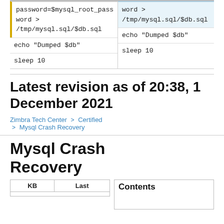[Figure (screenshot): Two side-by-side code blocks showing shell script snippets. Left block has yellow-bordered top section with 'password=$mysql_root_password > /tmp/mysql.sql/$db.sql', then rows 'echo "Dumped $db"' and 'sleep 10'. Right block has blue-tinted top section with 'word > /tmp/mysql.sql/$db.sql', then rows 'echo "Dumped $db"' and 'sleep 10'.]
Latest revision as of 20:38, 1 December 2021
Zimbra Tech Center > Certified > Mysql Crash Recovery
Mysql Crash Recovery
| KB | Last |
| --- | --- |
Contents